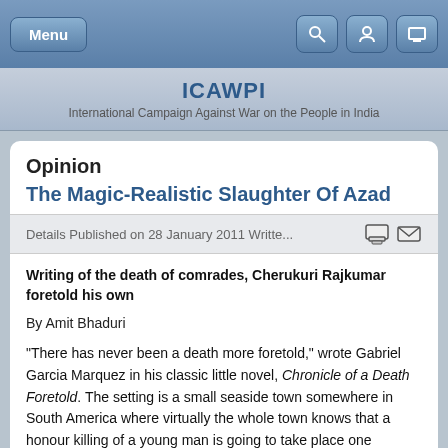Menu | Search | User | Display icons
ICAWPI
International Campaign Against War on the People in India
Opinion
The Magic-Realistic Slaughter Of Azad
Details  Published on 28 January 2011  Writte...
Writing of the death of comrades, Cherukuri Rajkumar foretold his own
By Amit Bhaduri
"There has never been a death more foretold," wrote Gabriel Garcia Marquez in his classic little novel, Chronicle of a Death Foretold. The setting is a small seaside town somewhere in South America where virtually the whole town knows that a honour killing of a young man is going to take place one morning. The killers wait with open knives in full view of the public, declaring to all passers-by their intention. Nothing is kept secret; the killing takes place in full view of the town